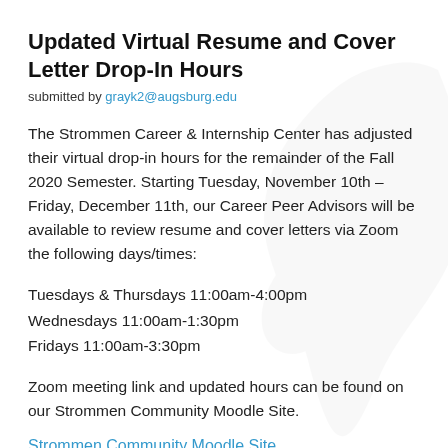Updated Virtual Resume and Cover Letter Drop-In Hours
submitted by grayk2@augsburg.edu
The Strommen Career & Internship Center has adjusted their virtual drop-in hours for the remainder of the Fall 2020 Semester. Starting Tuesday, November 10th – Friday, December 11th, our Career Peer Advisors will be available to review resume and cover letters via Zoom the following days/times:
Tuesdays & Thursdays 11:00am-4:00pm
Wednesdays 11:00am-1:30pm
Fridays 11:00am-3:30pm
Zoom meeting link and updated hours can be found on our Strommen Community Moodle Site.
Strommen Community Moodle Site